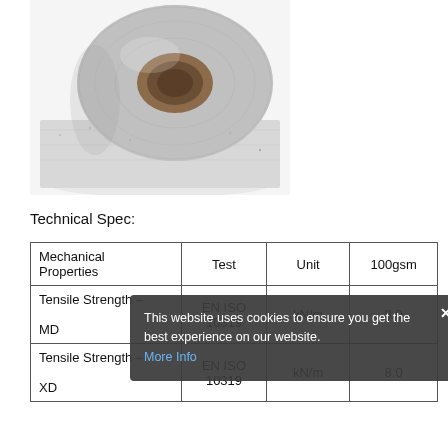[Figure (photo): Roll of grey nonwoven geotextile fabric, viewed from an angle showing the roll tube and fibrous texture of the material.]
Technical Spec:
| Mechanical Properties | Test | Unit | 100gsm |
| --- | --- | --- | --- |
| Tensile Strength – MD | EN ISO 10319 | kN/m | 8.0 |
| Tensile Strength – XD | EN ISO 10319 | kN/m | 8.0 |